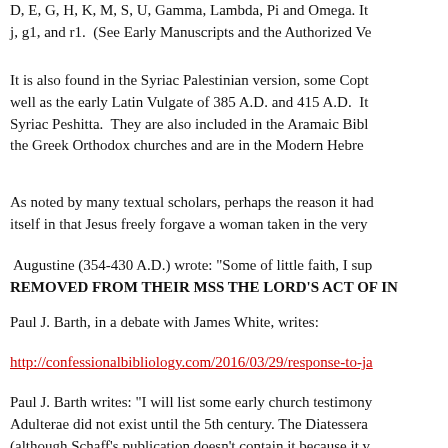D, E, G, H, K, M, S, U, Gamma, Lambda, Pi and Omega. It j, g1, and r1.  (See Early Manuscripts and the Authorized Ve
It is also found in the Syriac Palestinian version, some Copt well as the early Latin Vulgate of 385 A.D. and 415 A.D.  It Syriac Peshitta.  They are also included in the Aramaic Bibl the Greek Orthodox churches and are in the Modern Hebre
As noted by many textual scholars, perhaps the reason it had itself in that Jesus freely forgave a woman taken in the very
Augustine (354-430 A.D.) wrote: "Some of little faith, I sup REMOVED FROM THEIR MSS THE LORD'S ACT OF IN
Paul J. Barth, in a debate with James White, writes:
http://confessionalbibliology.com/2016/03/29/response-to-ja
Paul J. Barth writes: "I will list some early church testimony Adulterae did not exist until the 5th century. The Diatessera (although Schaff's publication doesn't contain it because it w manuscripts that have been discovered since have included